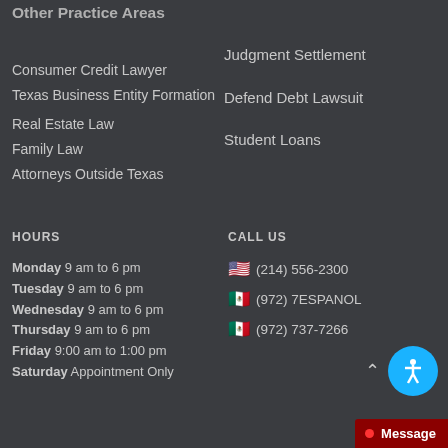Other Practice Areas
Consumer Credit Lawyer
Texas Business Entity Formation
Real Estate Law
Family Law
Attorneys Outside Texas
Judgment Settlement
Defend Debt Lawsuit
Student Loans
HOURS
Monday 9 am to 6 pm
Tuesday 9 am to 6 pm
Wednesday 9 am to 6 pm
Thursday 9 am to 6 pm
Friday 9:00 am to 1:00 pm
Saturday Appointment Only
CALL US
(214) 556-2300
(972) 7ESPANOL
(972) 737-7266